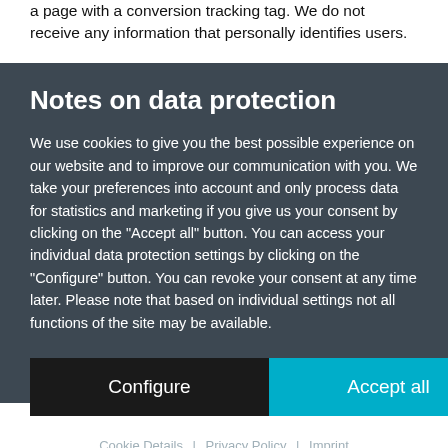a page with a conversion tracking tag. We do not receive any information that personally identifies users.
Notes on data protection
We use cookies to give you the best possible experience on our website and to improve our communication with you. We take your preferences into account and only process data for statistics and marketing if you give us your consent by clicking on the "Accept all" button. You can access your individual data protection settings by clicking on the "Configure" button. You can revoke your consent at any time later. Please note that based on individual settings not all functions of the site may be available.
Configure
Accept all
Cookie Details | Privacy Policy | Imprint